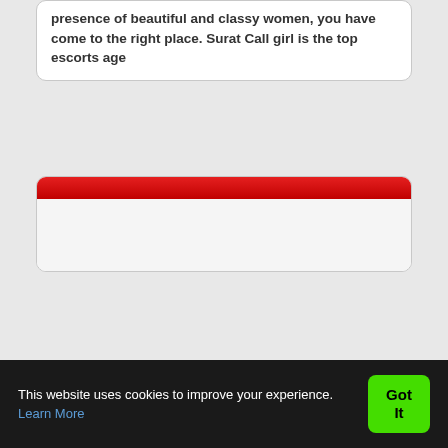presence of beautiful and classy women, you have come to the right place. Surat Call girl is the top escorts age
[Figure (other): A content card with a red header bar and a light gray body area, likely containing a listing or advertisement block.]
This website uses cookies to improve your experience. Learn More